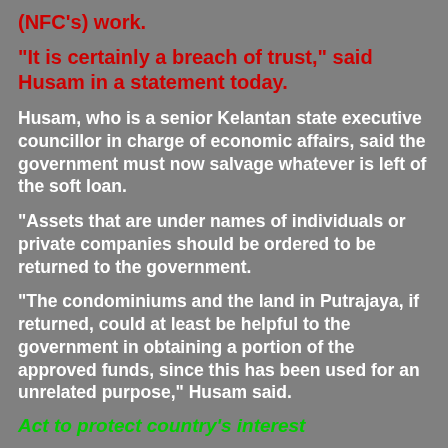(NFC's) work.
"It is certainly a breach of trust," said Husam in a statement today.
Husam, who is a senior Kelantan state executive councillor in charge of economic affairs, said the government must now salvage whatever is left of the soft loan.
"Assets that are under names of individuals or private companies should be ordered to be returned to the government.
"The condominiums and the land in Putrajaya, if returned, could at least be helpful to the government in obtaining a portion of the approved funds, since this has been used for an unrelated purpose," Husam said.
Act to protect country's interest